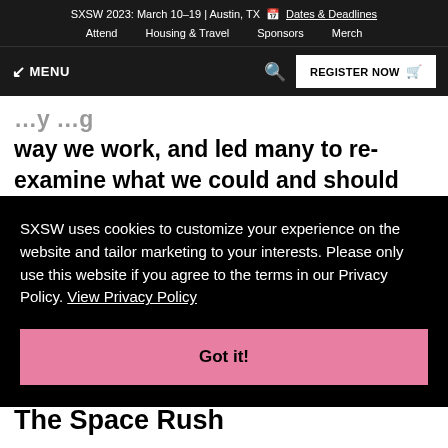SXSW 2023: March 10–19 | Austin, TX   📅 Dates & Deadlines
Attend   Housing & Travel   Sponsors   Merch
↙ MENU   🔍   REGISTER NOW 🛒
way we work, and led many to re-examine what we could and should expect from our employers. The Future of Work Summit focuses on how we move
SXSW uses cookies to customize your experience on the website and tailor marketing to your interests. Please only use this website if you agree to the terms in our Privacy Policy. View Privacy Policy
Got it!
The Space Rush